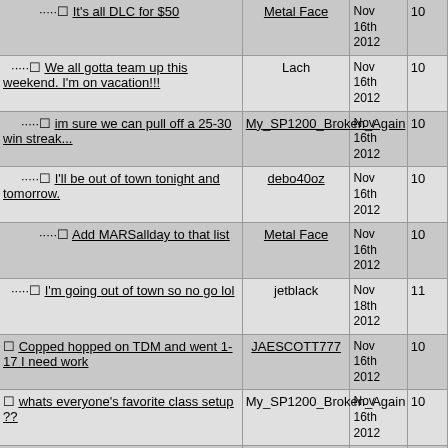| Topic | Author | Date | Replies |
| --- | --- | --- | --- |
| It's all DLC for $50 | Metal Face | Nov 16th 2012 | 10 |
| We all gotta team up this weekend. I'm on vacation!!! | Lach | Nov 16th 2012 | 10 |
| im sure we can pull off a 25-30 win streak... | My_SP1200_Broken_Again | Nov 16th 2012 | 10 |
| I'll be out of town tonight and tomorrow. | debo40oz | Nov 16th 2012 | 10 |
| Add MARSallday to that list | Metal Face | Nov 16th 2012 | 10 |
| I'm going out of town so no go lol | jetblack | Nov 18th 2012 | 11 |
| Copped hopped on TDM and went 1-17 I need work | JAESCOTT777 | Nov 16th 2012 | 10 |
| whats everyone's favorite class setup ?? | My_SP1200_Broken_Again | Nov 16th 2012 | 10 |
| I am still experimenting. | debo40oz | Nov 16th 2012 | 10 |
| http://oi45.tinypic.com/65o6c9.jpg | Metal Face | Nov 16th 2012 | 11 |